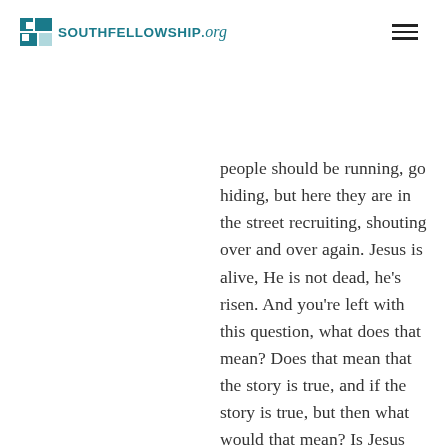SOUTHFELLOWSHIP.org
people should be running, go hiding, but here they are in the street recruiting, shouting over and over again. Jesus is alive, He is not dead, he's risen. And you're left with this question, what does that mean? Does that mean that the story is true, and if the story is true, but then what would that mean? Is Jesus really alive? You can sit down... Thanks for standing with me all that